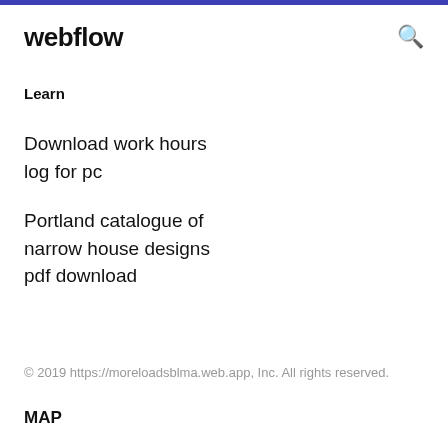webflow
Learn
Download work hours log for pc
Portland catalogue of narrow house designs pdf download
© 2019 https://moreloadsblma.web.app, Inc. All rights reserved.
MAP